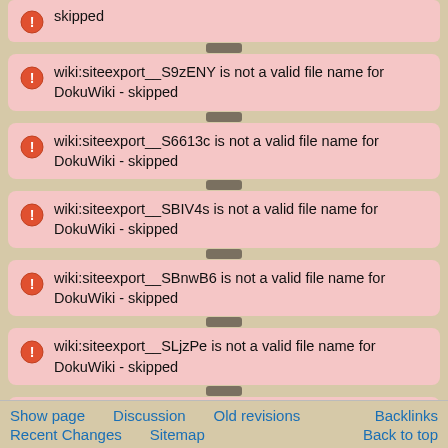skipped
wiki:siteexport__S9zENY is not a valid file name for DokuWiki - skipped
wiki:siteexport__S6613c is not a valid file name for DokuWiki - skipped
wiki:siteexport__SBIV4s is not a valid file name for DokuWiki - skipped
wiki:siteexport__SBnwB6 is not a valid file name for DokuWiki - skipped
wiki:siteexport__SLjzPe is not a valid file name for DokuWiki - skipped
wiki:siteexport__SPnNUt is not a valid file name for DokuWiki - skipped
wiki:siteexport__SSnsT7 is not a valid file name for DokuWiki - skipped
wiki:siteexport__SUbLu4 is not a valid file name for DokuWiki
Show page   Discussion   Old revisions   Backlinks
Recent Changes   Sitemap   Back to top